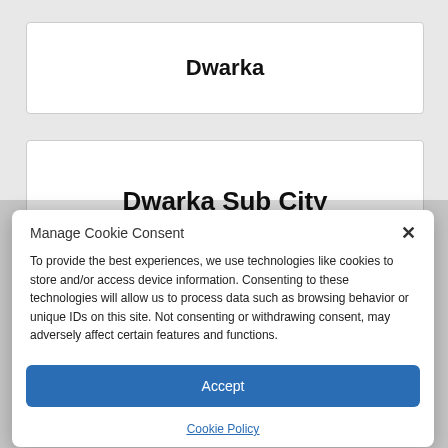Dwarka
Dwarka Sub City
Manage Cookie Consent
To provide the best experiences, we use technologies like cookies to store and/or access device information. Consenting to these technologies will allow us to process data such as browsing behavior or unique IDs on this site. Not consenting or withdrawing consent, may adversely affect certain features and functions.
Accept
Cookie Policy